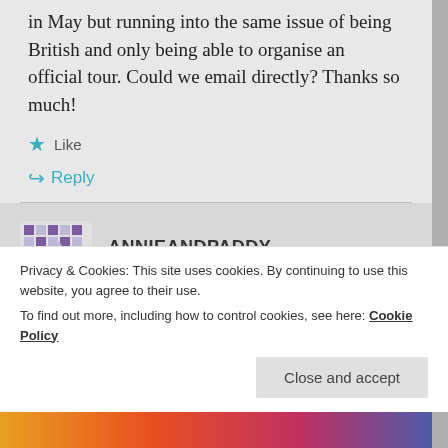in May but running into the same issue of being British and only being able to organise an official tour. Could we email directly? Thanks so much!
Like
Reply
ANNIEANDPADDY
February 27, 2017 at 5:37 pm
Hi please provide an email and we won't post it but email you instead. Thanks
Privacy & Cookies: This site uses cookies. By continuing to use this website, you agree to their use.
To find out more, including how to control cookies, see here: Cookie Policy